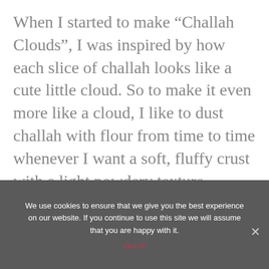When I started to make “Challah Clouds”, I was inspired by how each slice of challah looks like a cute little cloud. So to make it even more like a cloud, I like to dust challah with flour from time to time whenever I want a soft, fluffy crust with a light powdery texture.
We use cookies to ensure that we give you the best experience on our website. If you continue to use this site we will assume that you are happy with it.
Got it!